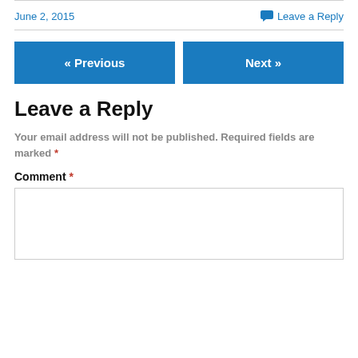June 2, 2015
Leave a Reply
« Previous
Next »
Leave a Reply
Your email address will not be published. Required fields are marked *
Comment *